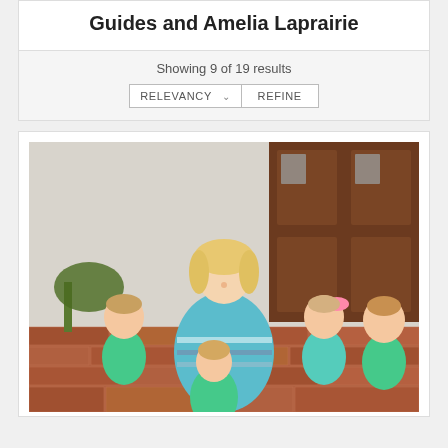Guides and Amelia Laprairie
Showing 9 of 19 results
[Figure (screenshot): UI filter bar with RELEVANCY dropdown and REFINE button]
[Figure (photo): A woman sitting on brick steps with four children, all wearing teal/mint colored outfits. The woman wears a striped blue dress. There is a wooden front door in the background.]